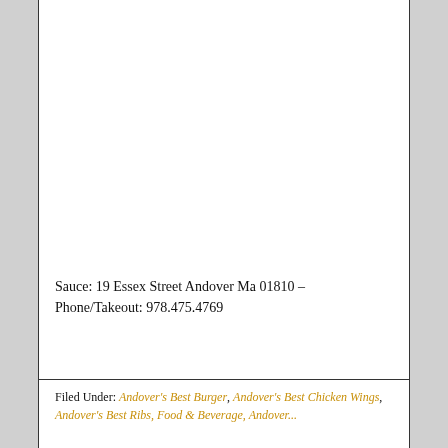Sauce: 19 Essex Street Andover Ma 01810 – Phone/Takeout: 978.475.4769
Filed Under: Andover's Best Burger, Andover's Best Chicken Wings, Andover's Best Ribs, Food & Beverage, Andover...